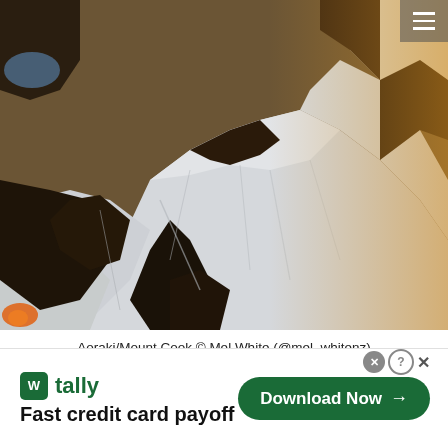[Figure (photo): Aerial photograph of Aoraki/Mount Cook showing snow-covered jagged mountain peaks with rocky dark ridges, golden warm light on the right side, and a small glacial lake visible at upper left.]
Aoraki/Mount Cook © Mel White (@mel_whitenz)
[Figure (screenshot): Advertisement banner for Tally app — shows Tally logo (green W icon), brand name 'tally' in green, tagline 'Fast credit card payoff' in bold black, and a green 'Download Now →' button on the right. An X close button and help circle appear at top right.]